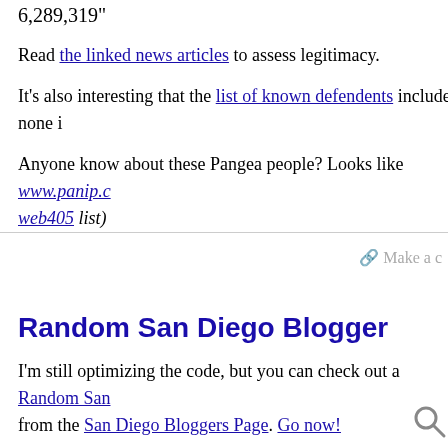6,289,319"
Read the linked news articles to assess legitimacy.
It's also interesting that the list of known defendents include none i
Anyone know about these Pangea people? Looks like www.panip.c… web405 list)
Make a c
Random San Diego Blogger
I'm still optimizing the code, but you can check out a Random San… from the San Diego Bloggers Page. Go now!